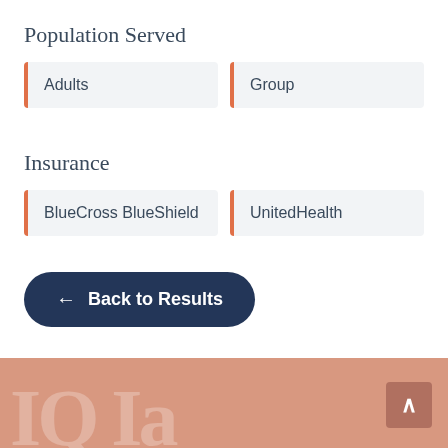Population Served
Adults
Group
Insurance
BlueCross BlueShield
UnitedHealth
← Back to Results
[Figure (photo): Footer with salmon/peach background showing faint logo watermark and a scroll-to-top button in the bottom right corner]